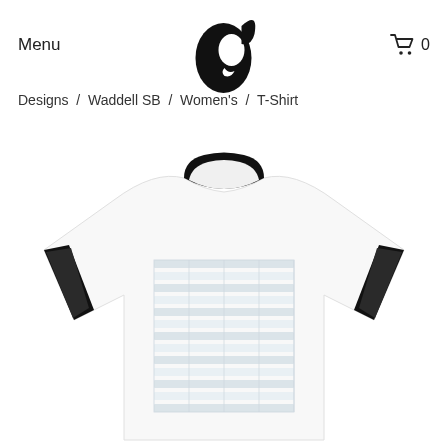Menu   [logo]   🛒 0
Designs  /  Waddell SB  /  Women's  /  T-Shirt
[Figure (photo): White women's ringer t-shirt with black collar and sleeve cuffs, featuring a faint light-blue grid/table pattern printed on the front chest area. Displayed on a white background.]